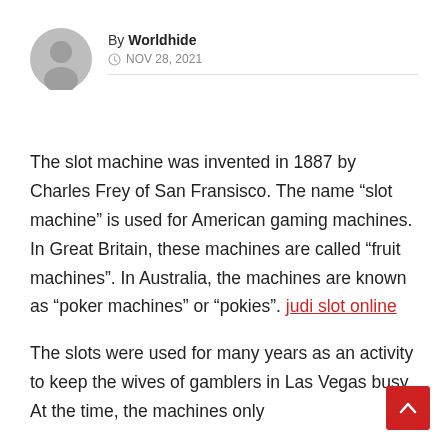[Figure (illustration): Circular grey avatar icon showing a generic person silhouette]
By Worldhide
NOV 28, 2021
The slot machine was invented in 1887 by Charles Frey of San Fransisco. The name “slot machine” is used for American gaming machines. In Great Britain, these machines are called “fruit machines”. In Australia, the machines are known as “poker machines” or “pokies”. judi slot online
The slots were used for many years as an activity to keep the wives of gamblers in Las Vegas busy. At the time, the machines only